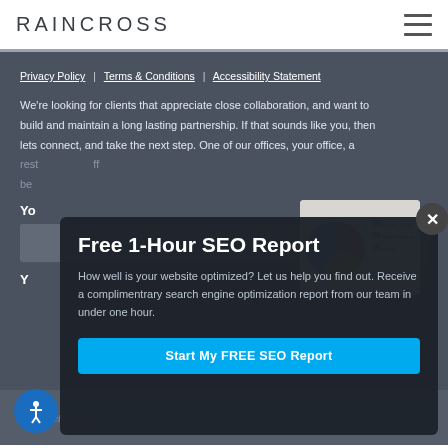[Figure (logo): Raincross logo text in dark grey uppercase letters]
RAINCROSS
Privacy Policy | Terms & Conditions | Accessibility Statement
We're looking for clients that appreciate close collaboration, and want to build and maintain a long lasting partnership. If that sounds like you, then lets connect, and take the next step. One of our offices, your office, a rest... [partially obscured]
Yo...
[Figure (screenshot): Partial screenshot showing a pie chart with Direct Traffic, Search Engine, and Referral labels]
Free 1-Hour SEO Report
How well is your website optimized? Let us help you find out. Receive a complimentrary search engine optimization report from our team in under one hour.
Start My FREE SEO Report